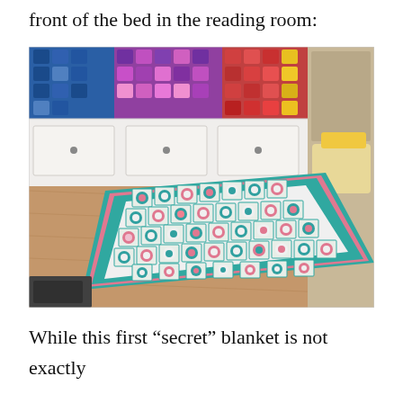front of the bed in the reading room:
[Figure (photo): A crocheted blanket laid out on a wooden floor in front of a white bed with storage drawers. The blanket has a teal/turquoise border with pink and white granny squares featuring circular floral motifs in teal and pink. On the bed is a colorful patchwork blanket with squares in blues, purples, pinks, reds, and yellows.]
While this first “secret” blanket is not exactly representative of my usual taste, I do not